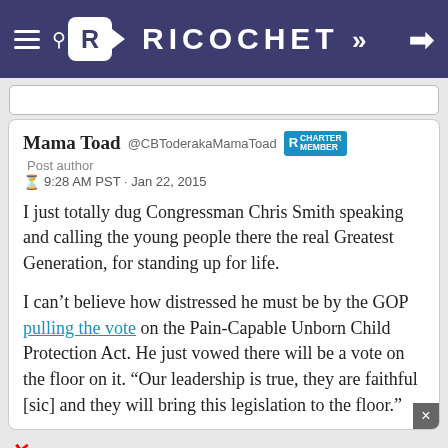RICOCHET
Mama Toad @CBToderakaMamaToad [CHARTER MEMBER]
Post author
9:28 AM PST · Jan 22, 2015
I just totally dug Congressman Chris Smith speaking and calling the young people there the real Greatest Generation, for standing up for life.
I can't believe how distressed he must be by the GOP pulling the vote on the Pain-Capable Unborn Child Protection Act. He just vowed there will be a vote on the floor on it. “Our leadership is true, they are faithful [sic] and they will bring this legislation to the floor.”